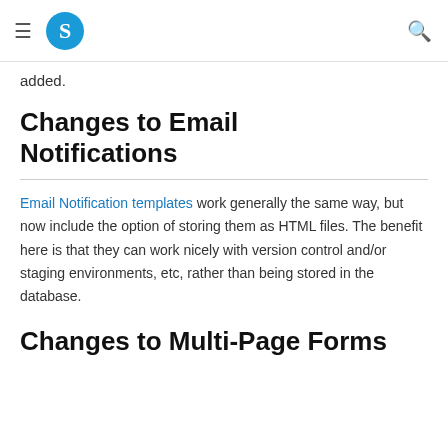S (logo)
added.
Changes to Email Notifications
Email Notification templates work generally the same way, but now include the option of storing them as HTML files. The benefit here is that they can work nicely with version control and/or staging environments, etc, rather than being stored in the database.
Changes to Multi-Page Forms